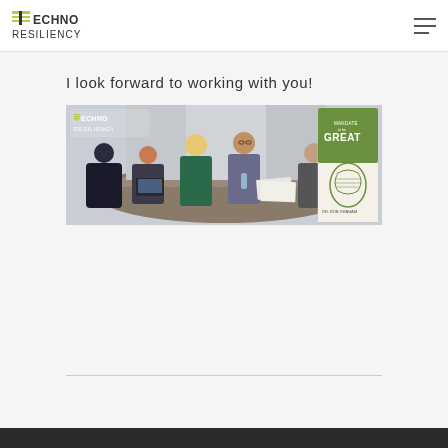TECHNO RESILIENCY
I look forward to working with you!
[Figure (photo): Group of diverse professionals in a meeting around a table with laptops and documents. On the right side is a book cover showing 'TECHNO RESILIENCY' logo and 'MANDATE to be GREAT' book by Dr. Bob Graham.]